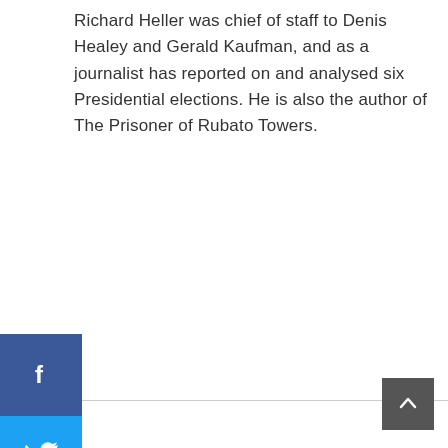Richard Heller was chief of staff to Denis Healey and Gerald Kaufman, and as a journalist has reported on and analysed six Presidential elections. He is also the author of The Prisoner of Rubato Towers.
[Figure (infographic): Vertical social sharing sidebar with Facebook (blue), Twitter (light blue), WhatsApp (green), and LinkedIn (dark blue) icon buttons, plus a collapse '<<' toggle below.]
[Figure (infographic): Back-to-top button (dark gray square with upward chevron) in the bottom-right corner.]